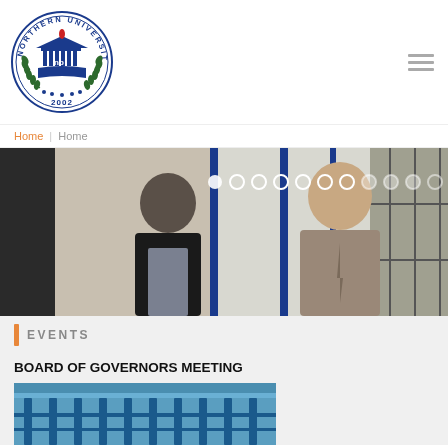[Figure (logo): Northern University circular logo with text 'NORTHERN UNIVERSITY 2002', laurel wreath, building and book imagery]
Home | Home
[Figure (photo): Two men smiling standing together, carousel slideshow with dot navigation indicators]
EVENTS
BOARD OF GOVERNORS MEETING
[Figure (photo): Interior of a building showing blue railings/balcony structure]